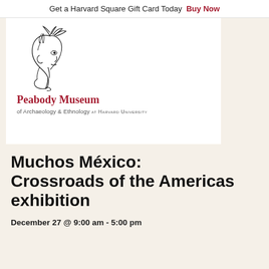Get a Harvard Square Gift Card Today  Buy Now
[Figure (logo): Peabody Museum of Archaeology & Ethnology at Harvard University logo with illustrated Mayan head profile]
Muchos México: Crossroads of the Americas exhibition
December 27 @ 9:00 am - 5:00 pm